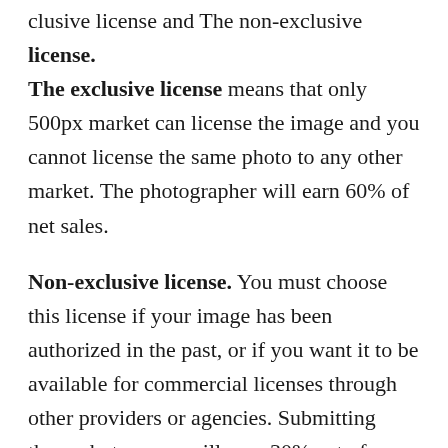clusive license and The non-exclusive license. The exclusive license means that only 500px market can license the image and you cannot license the same photo to any other market. The photographer will earn 60% of net sales.
Non-exclusive license. You must choose this license if your image has been authorized in the past, or if you want it to be available for commercial licenses through other providers or agencies. Submitting these photos, you will earn 30% net of any non-exclusive license purchase.